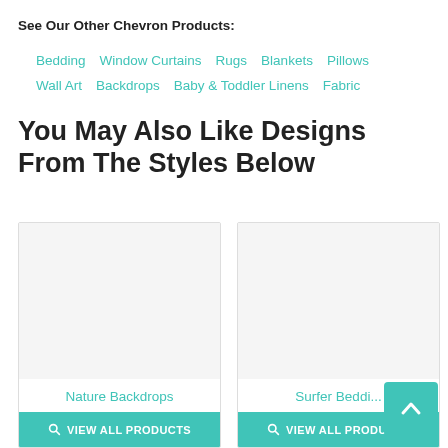See Our Other Chevron Products:
Bedding   Window Curtains   Rugs   Blankets   Pillows   Wall Art   Backdrops   Baby & Toddler Linens   Fabric
You May Also Like Designs From The Styles Below
[Figure (screenshot): Product card for Nature Backdrops with white/empty image area, teal label 'Nature Backdrops' and teal 'VIEW ALL PRODUCTS' button]
[Figure (screenshot): Product card for Surfer Bedding with white/empty image area, teal label 'Surfer Beddi...' (truncated) and teal 'VIEW ALL PRODUCTS' button]